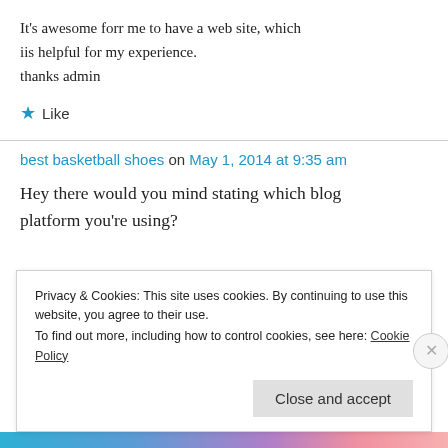It's awesome forr me to have a web site, which iis helpful for my experience.
thanks admin
★ Like
best basketball shoes on May 1, 2014 at 9:35 am
Hey there would you mind stating which blog platform you're using?
Privacy & Cookies: This site uses cookies. By continuing to use this website, you agree to their use.
To find out more, including how to control cookies, see here: Cookie Policy
Close and accept